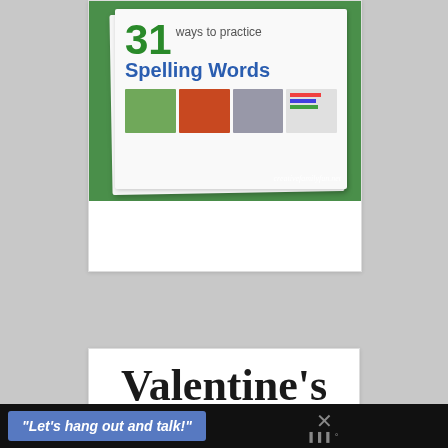[Figure (photo): A printed booklet titled '31 ways to practice Spelling Words' on a green background, with small photos showing various spelling practice activities. Watermark: creativefamilyfun.net]
Valentine's Day Word
"Let's hang out and talk!"